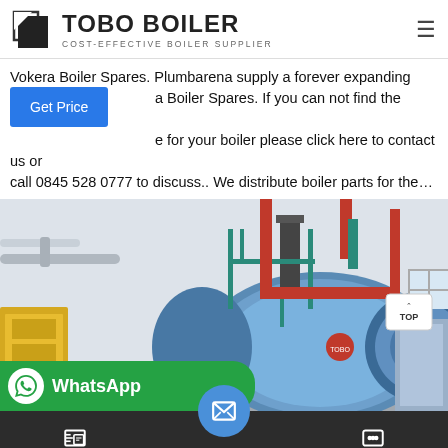TOBO BOILER — COST-EFFECTIVE BOILER SUPPLIER
Vokera Boiler Spares. Plumbarena supply a forever expanding ra Boiler Spares. If you can not find the Vokera spare e for your boiler please click here to contact us or call 0845 528 0777 to discuss.. We distribute boiler parts for the…
[Figure (photo): Industrial boiler room showing a large blue cylindrical boiler with red and teal pipes, ladders and platforms, in a white industrial building. A 'TOP' navigation button is visible in the upper right corner of the image.]
[Figure (screenshot): WhatsApp contact bar (green) with WhatsApp logo and 'WhatsApp' text overlay at bottom left of image]
Send Message | Inquiry Online